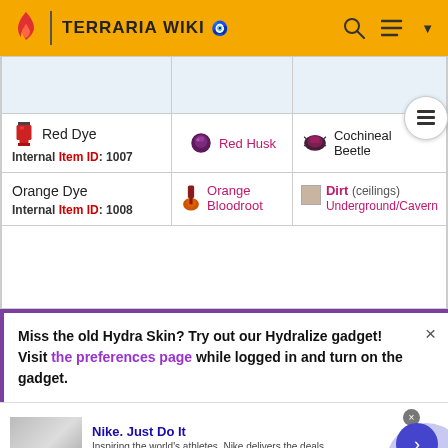TERRARIA WIKI
| Item | Ingredient | Source |
| --- | --- | --- |
|  |  |  |
| Red Dye
Internal Item ID: 1007 | Red Husk | Cochineal Beetle |
| Orange Dye
Internal Item ID: 1008 | Orange Bloodroot | Dirt (ceilings) Underground/Cavern |
Miss the old Hydra Skin? Try out our Hydralize gadget! Visit the preferences page while logged in and turn on the gadget.
Nike. Just Do It
Inspiring the world's athletes, Nike delivers the deals
www.nike.com